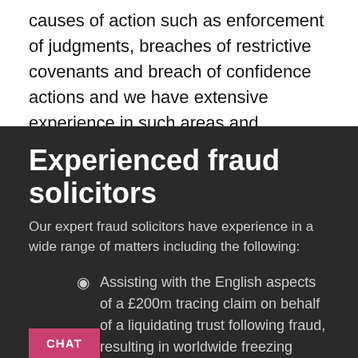causes of action such as enforcement of judgments, breaches of restrictive covenants and breach of confidence actions and we have extensive experience in such areas and applications also.
Experienced fraud solicitors
Our expert fraud solicitors have experience in a wide range of matters including the following:
Assisting with the English aspects of a £200m tracing claim on behalf of a liquidating trust following fraud, resulting in worldwide freezing orders and bankers trust orders.
ng for clients in the High Court and Court